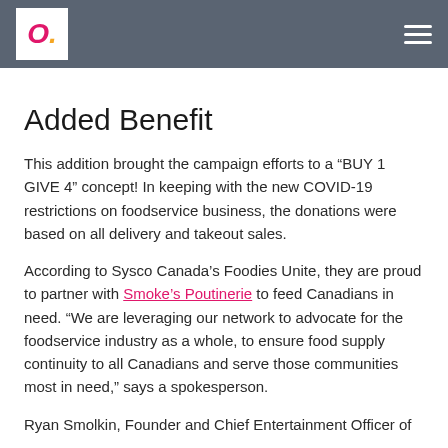O.
Added Benefit
This addition brought the campaign efforts to a “BUY 1 GIVE 4” concept! In keeping with the new COVID-19 restrictions on foodservice business, the donations were based on all delivery and takeout sales.
According to Sysco Canada’s Foodies Unite, they are proud to partner with Smoke’s Poutinerie to feed Canadians in need. “We are leveraging our network to advocate for the foodservice industry as a whole, to ensure food supply continuity to all Canadians and serve those communities most in need,” says a spokesperson.
Ryan Smolkin, Founder and Chief Entertainment Officer of